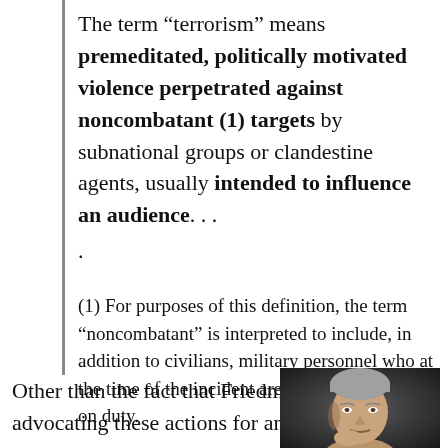The term “terrorism” means premeditated, politically motivated violence perpetrated against noncombatant (1) targets by subnational groups or clandestine agents, usually intended to influence an audience. . . .
(1) For purposes of this definition, the term “noncombatant” is interpreted to include, in addition to civilians, military personnel who at the time of the incident are unarmed and/or not on duty.
Other than the fact that Friedman is advocating these actions for an actual state rather than a
[Figure (photo): Close-up portrait photo of a man, appears to be middle-aged with grey/light hair, dark background]